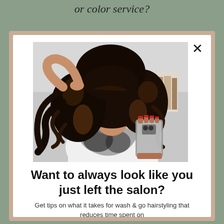or color service?
[Figure (photo): A woman with voluminous curly hair taking a mirror selfie with her smartphone. She is wearing a white graphic top and looking down at her phone. Her curly hair is dark with lighter highlights.]
Want to always look like you just left the salon?
Get tips on what it takes for wash & go hairstyling that reduces time spent on